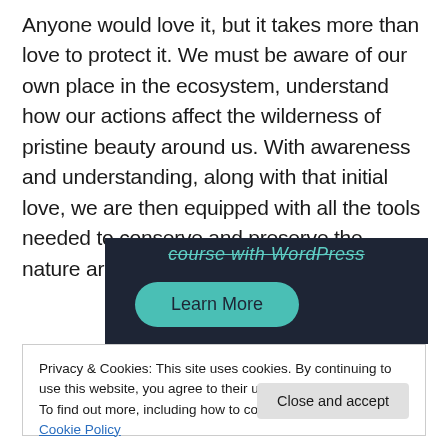Anyone would love it, but it takes more than love to protect it. We must be aware of our own place in the ecosystem, understand how our actions affect the wilderness of pristine beauty around us. With awareness and understanding, along with that initial love, we are then equipped with all the tools needed to conserve and preserve the nature around us. Too marvelous!
[Figure (screenshot): Dark navy banner with teal italic strikethrough text 'course with WordPress' and a teal rounded 'Learn More' button]
Privacy & Cookies: This site uses cookies. By continuing to use this website, you agree to their use.
To find out more, including how to control cookies, see here: Cookie Policy
Close and accept